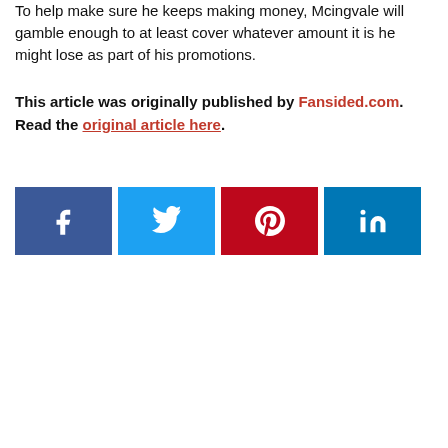To help make sure he keeps making money, Mcingvale will gamble enough to at least cover whatever amount it is he might lose as part of his promotions.
This article was originally published by Fansided.com. Read the original article here.
[Figure (infographic): Four social media share buttons in a row: Facebook (dark blue with f icon), Twitter (light blue with bird icon), Pinterest (red with p icon), LinkedIn (dark blue with in icon)]